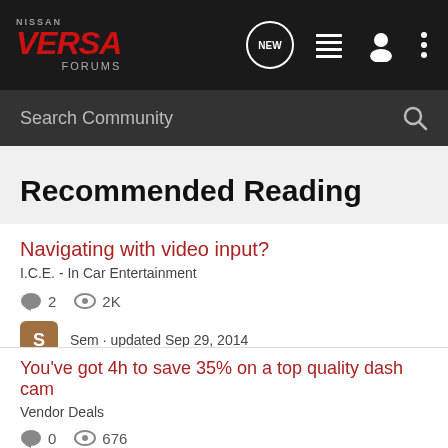[Figure (screenshot): Nissan Versa Forums navigation bar with logo, new posts bubble, list icon, user icon, and menu icon]
[Figure (screenshot): Search Community search bar with magnifying glass icon]
Recommended Reading
Navigating with video input?
I.C.E. - In Car Entertainment
2 replies, 2K views
Sem · updated Sep 29, 2014
You've got 4h to save 35% on a top quality dash cam
Vendor Deals
0 replies, 676 views
WiseGuide Deals · updated Feb 5, 2019